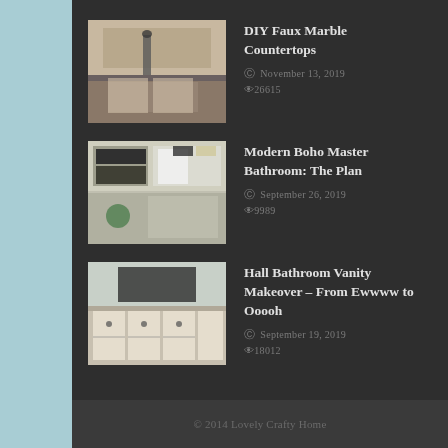[Figure (photo): DIY Faux Marble Countertops thumbnail - kitchen/bathroom counter]
DIY Faux Marble Countertops
November 13, 2019
26615
[Figure (photo): Modern Boho Master Bathroom: The Plan thumbnail - bathroom mood board]
Modern Boho Master Bathroom: The Plan
September 26, 2019
9989
[Figure (photo): Hall Bathroom Vanity Makeover thumbnail - white painted cabinets]
Hall Bathroom Vanity Makeover – From Ewwww to Ooooh
September 19, 2019
18012
© 2014 Lovely Crafty Home